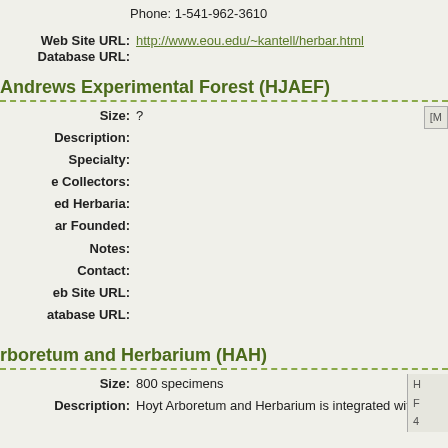Phone: 1-541-962-3610
Web Site URL: http://www.eou.edu/~kantell/herbar.html
Database URL:
Andrews Experimental Forest (HJAEF)
Size: ?
Description:
Specialty:
Active Collectors:
Associated Herbaria:
Year Founded:
Notes:
Contact:
Web Site URL:
Database URL:
Hoyt Arboretum and Herbarium (HAH)
Size: 800 specimens
Description: Hoyt Arboretum and Herbarium is integrated with the